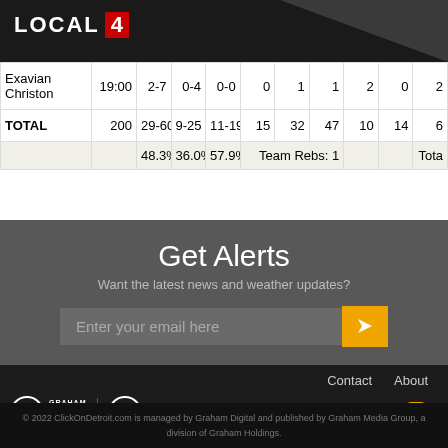LOCAL 4
| Exavian Christon | 19:00 | 2-7 | 0-4 | 0-0 | 0 | 1 | 1 | 2 | 0 | 2 |
| TOTAL | 200 | 29-60 | 9-25 | 11-19 | 15 | 32 | 47 | 10 | 14 | 6 |
|  |  | 48.3% | 36.0% | 57.9% | Team Rebs: 1 |  |  |  |  | Tota |
Get Alerts
Want the latest news and weather updates?
Enter your email here
Contact   About
© 2022 ClickOnDetroit.com is managed by Graham Digital and published by Graham Media Group, a division of Graham Holdings.